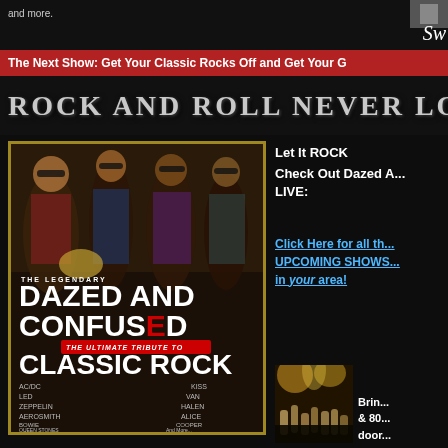and more.
The Next Show: Get Your Classic Rocks Off and Get Your G
ROCK AND ROLL NEVER LOOKED
[Figure (photo): Promotional poster for 'The Legendary Dazed and Confused - The Ultimate Tribute to Classic Rock' showing band members in sunglasses and rock attire. Lists bands: AC/DC, Led Zeppelin, Aerosmith, Bowie, Queen, Stones on left; Kiss, Van Halen, Alice Cooper, And More... on right.]
Let It ROCK
Check Out Dazed A... LIVE:
Click Here for all the UPCOMING SHOWS in your area!
[Figure (photo): Concert crowd photo with stage lighting and raised hands]
Brin... & 80... doo...